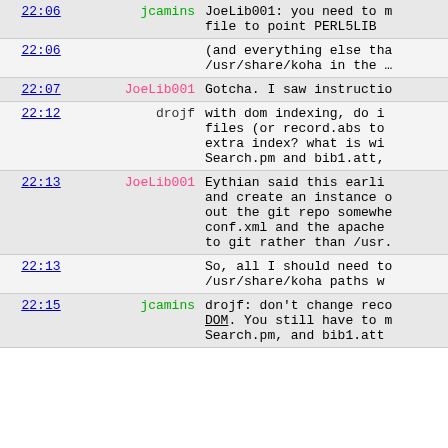| time | user | message |
| --- | --- | --- |
| 22:06 | jcamins | JoeLib001: you need to modify your startup file to point PERL5LIB |
| 22:06 |  | (and everything else that would reference /usr/share/koha in the … |
| 22:07 | JoeLib001 | Gotcha. I saw instructi… |
| 22:12 | drojf | with dom indexing, do i… files (or record.abs to… extra index? what is wi… Search.pm and bib1.att, |
| 22:13 | JoeLib001 | Eythian said this earli… and create an instance … out the git repo somewhe… conf.xml and the apache… to git rather than /usr. |
| 22:13 |  | So, all I should need to… /usr/share/koha paths w… |
| 22:15 | jcamins | drojf: don't change reco… DOM. You still have to … Search.pm, and bib1.att… |